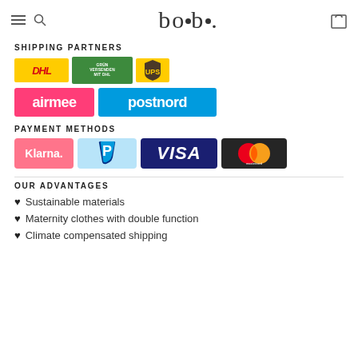boob.
SHIPPING PARTNERS
[Figure (logo): DHL shipping logo (yellow background, red italic DHL text)]
[Figure (logo): DHL Grün Versenden mit DHL (green background, white text)]
[Figure (logo): UPS shield logo (yellow and brown)]
[Figure (logo): Airmee logo (pink/magenta background, white text)]
[Figure (logo): PostNord logo (blue background, white text)]
PAYMENT METHODS
[Figure (logo): Klarna logo (pink background, white text 'Klarna.')]
[Figure (logo): PayPal logo (light blue background, blue P icon)]
[Figure (logo): VISA logo (dark blue background, white italic VISA text)]
[Figure (logo): Mastercard logo (dark background, overlapping red and orange circles)]
OUR ADVANTAGES
♥ Sustainable materials
♥ Maternity clothes with double function
♥ Climate compensated shipping